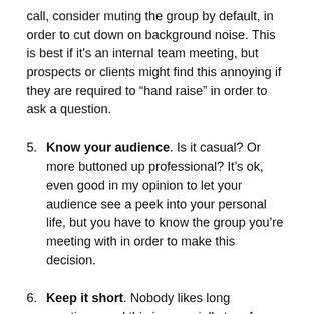call, consider muting the group by default, in order to cut down on background noise. This is best if it's an internal team meeting, but prospects or clients might find this annoying if they are required to “hand raise” in order to ask a question.
5. Know your audience. Is it casual? Or more buttoned up professional? It’s ok, even good in my opinion to let your audience see a peek into your personal life, but you have to know the group you’re meeting with in order to make this decision.
6. Keep it short. Nobody likes long meetings, and this is especially true for web-based meetings. Don’t waste the group’s time. Keep it under an hour max,